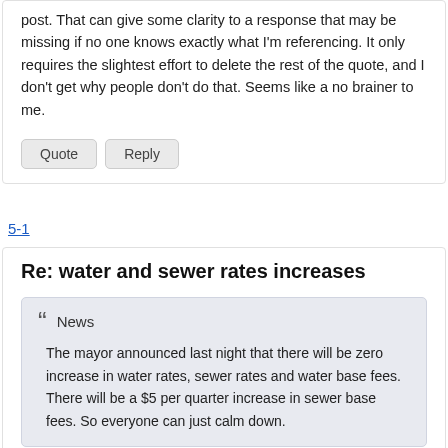post. That can give some clarity to a response that may be missing if no one knows exactly what I'm referencing. It only requires the slightest effort to delete the rest of the quote, and I don't get why people don't do that. Seems like a no brainer to me.
Quote
Reply
5-1
Re: water and sewer rates increases
News
The mayor announced last night that there will be zero increase in water rates, sewer rates and water base fees. There will be a $5 per quarter increase in sewer base fees. So everyone can just calm down.
The city's picking our pockets clean and the $$$$ just keeps coming in.
$30.00 x x x the number of homes/years...?